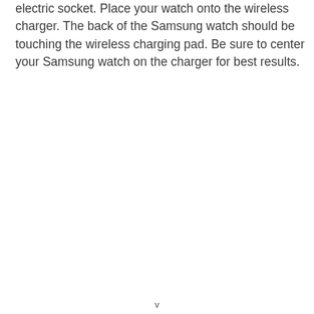electric socket. Place your watch onto the wireless charger. The back of the Samsung watch should be touching the wireless charging pad. Be sure to center your Samsung watch on the charger for best results.
v